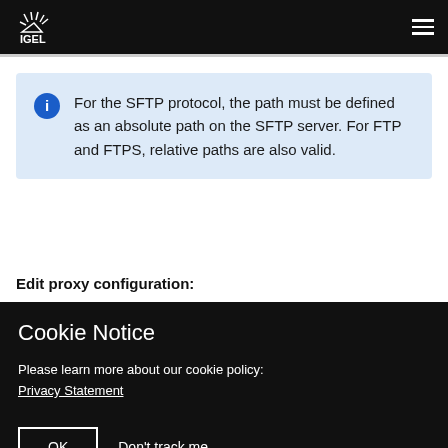IGEL
For the SFTP protocol, the path must be defined as an absolute path on the SFTP server. For FTP and FTPS, relative paths are also valid.
Edit proxy configuration:
Cookie Notice
Please learn more about our cookie policy: Privacy Statement
OK   Don't track me.